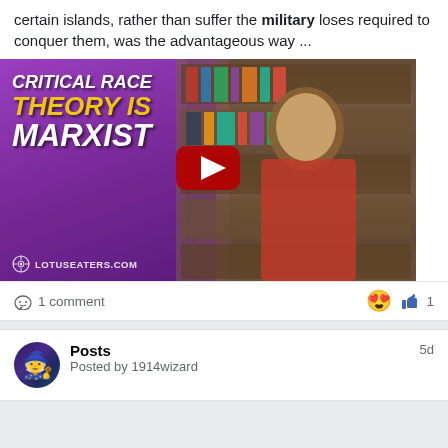certain islands, rather than suffer the military loses required to conquer them, was the advantageous way ...
[Figure (screenshot): Video thumbnail showing text 'CRITICAL RACE THEORY IS MARXIST' with a YouTube play button. Left side has purple background with white and yellow text, right side shows a Black woman with earbuds in front of bookshelves. LOTUSEATERS.COM logo at bottom left.]
1 comment
😍  1
Posts
Posted by 1914wizard
5d